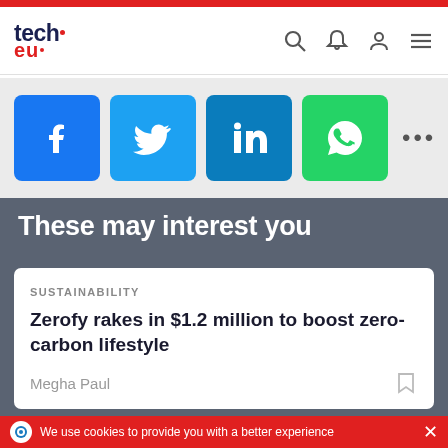tech.eu
[Figure (screenshot): Social share buttons: Facebook, Twitter, LinkedIn, WhatsApp, and more (...)]
These may interest you
SUSTAINABILITY
Zerofy rakes in $1.2 million to boost zero-carbon lifestyle
Megha Paul
We use cookies to provide you with a better experience